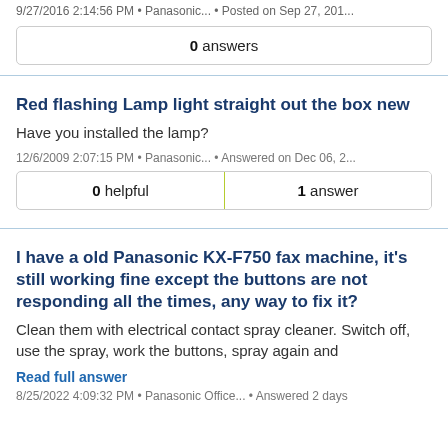9/27/2016 2:14:56 PM • Panasonic... • Posted on Sep 27, 201...
0 answers
Red flashing Lamp light straight out the box new
Have you installed the lamp?
12/6/2009 2:07:15 PM • Panasonic... • Answered on Dec 06, 2...
0 helpful | 1 answer
I have a old Panasonic KX-F750 fax machine, it's still working fine except the buttons are not responding all the times, any way to fix it?
Clean them with electrical contact spray cleaner. Switch off, use the spray, work the buttons, spray again and
Read full answer
8/25/2022 4:09:32 PM • Panasonic Office... • Answered 2 days